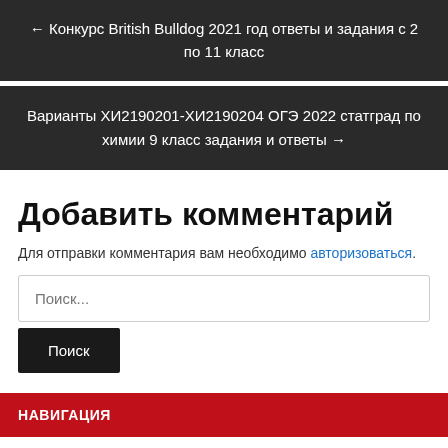← Конкурс British Bulldog 2021 год ответы и задания с 2 по 11 класс
Варианты ХИ2190201-ХИ2190204 ОГЭ 2022 статград по химии 9 класс задания и ответы →
Добавить комментарий
Для отправки комментария вам необходимо авторизоваться.
Поиск...
Поиск
НАВИГАЦИЯ